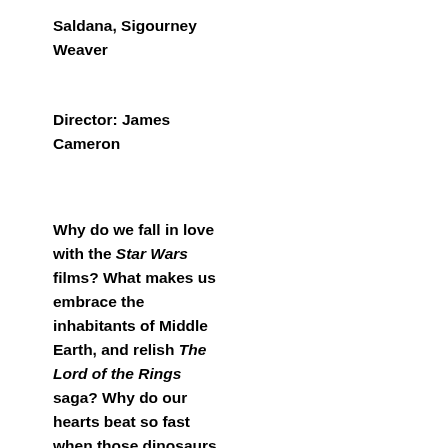Saldana, Sigourney Weaver
Director: James Cameron
Why do we fall in love with the Star Wars films? What makes us embrace the inhabitants of Middle Earth, and relish The Lord of the Rings saga? Why do our hearts beat so fast when those dinosaurs chase the humans in Jurassic Park?